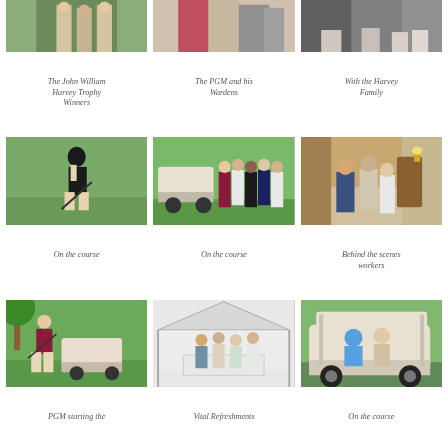[Figure (photo): Golf players on course - John William Harvey Trophy Winners]
[Figure (photo): The PGM and his Wardens standing together]
[Figure (photo): With the Harvey Family posing together]
The John William Harvey Trophy Winners
The PGM and his Wardens
With the Harvey Family
[Figure (photo): Golfer on the course mid-swing]
[Figure (photo): Group of people on the course near a golf cart]
[Figure (photo): People behind the scenes workers indoors]
On the course
On the course
Behind the scenes workers
[Figure (photo): PGM starting the game on course with golf cart]
[Figure (photo): Vital Refreshments - group under tent]
[Figure (photo): People on the course riding a golf cart]
PGM starting the
Vital Refreshments
On the course